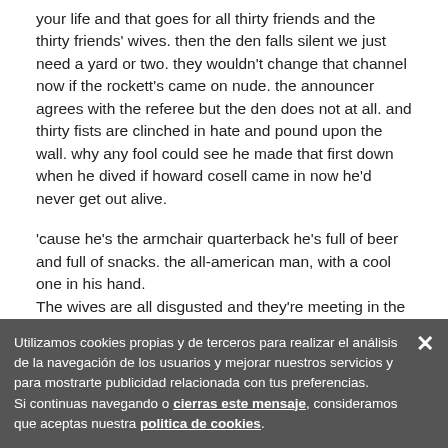your life and that goes for all thirty friends and the thirty friends' wives. then the den falls silent we just need a yard or two. they wouldn't change that channel now if the rockett's came on nude. the announcer agrees with the referee but the den does not at all. and thirty fists are clinched in hate and pound upon the wall. why any fool could see he made that first down when he dived if howard cosell came in now he'd never get out alive.
'cause he's the armchair quarterback he's full of beer and full of snacks. the all-american man, with a cool one in his hand.
The wives are all disgusted and they're meeting in the yard on their way to wear the numbers off our credit cards. shop, shop, shop.
Utilizamos cookies propias y de terceros para realizar el análisis de la navegación de los usuarios y mejorar nuestros servicios y para mostrarte publicidad relacionada con tus preferencias.
Si continuas navegando o cierras este mensaje, consideramos que aceptas nuestra politica de cookies.